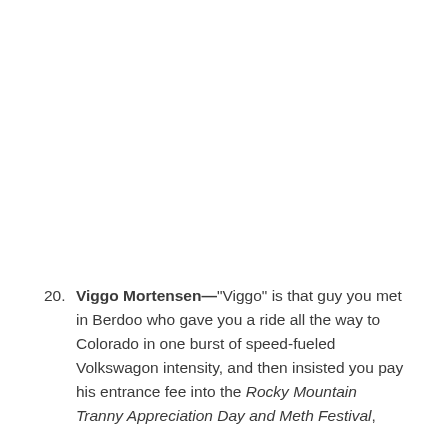20. Viggo Mortensen—"Viggo" is that guy you met in Berdoo who gave you a ride all the way to Colorado in one burst of speed-fueled Volkswagon intensity, and then insisted you pay his entrance fee into the Rocky Mountain Tranny Appreciation Day and Meth Festival,